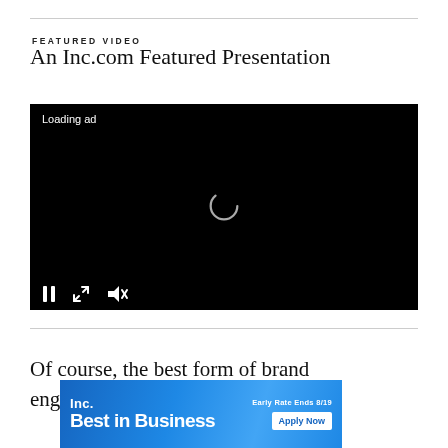FEATURED VIDEO
An Inc.com Featured Presentation
[Figure (screenshot): Video player with black background showing 'Loading ad' text, a circular spinner icon in the center, and playback controls (pause, resize, mute) at the bottom.]
Of co... nd enga...
[Figure (other): Inc. Best in Business advertisement banner. 'Early Rate Ends 8/19' and 'Apply Now' button on blue gradient background.]